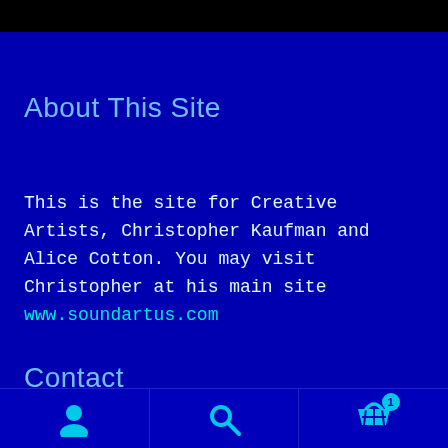About This Site
This is the site for Creative Artists, Christopher Kaufman and Alice Cotton. You may visit Christopher at his main site www.soundartus.com
Contact
soundartus at gmail dot com
Navigation bar with user, search, and cart icons